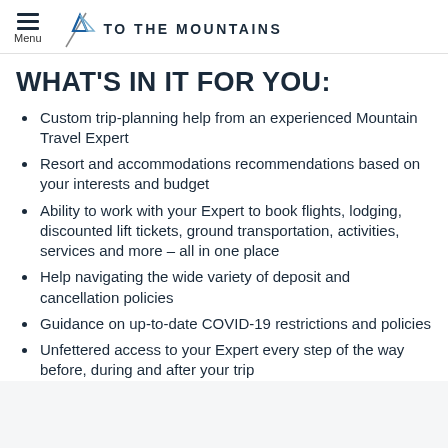Menu | TO THE MOUNTAINS
WHAT'S IN IT FOR YOU:
Custom trip-planning help from an experienced Mountain Travel Expert
Resort and accommodations recommendations based on your interests and budget
Ability to work with your Expert to book flights, lodging, discounted lift tickets, ground transportation, activities, services and more – all in one place
Help navigating the wide variety of deposit and cancellation policies
Guidance on up-to-date COVID-19 restrictions and policies
Unfettered access to your Expert every step of the way before, during and after your trip